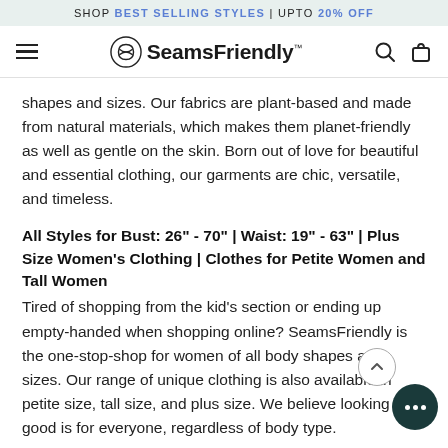SHOP BEST SELLING STYLES | UPTO 20% OFF
[Figure (logo): SeamsFriendly logo with navigation bar including hamburger menu, search icon, and cart icon]
shapes and sizes. Our fabrics are plant-based and made from natural materials, which makes them planet-friendly as well as gentle on the skin. Born out of love for beautiful and essential clothing, our garments are chic, versatile, and timeless.
All Styles for Bust: 26" - 70" | Waist: 19" - 63" | Plus Size Women's Clothing | Clothes for Petite Women and Tall Women
Tired of shopping from the kid's section or ending up empty-handed when shopping online? SeamsFriendly is the one-stop-shop for women of all body shapes and sizes. Our range of unique clothing is also available in petite size, tall size, and plus size. We believe looking good is for everyone, regardless of body type.
Shop Clothing that is Handmade with Love